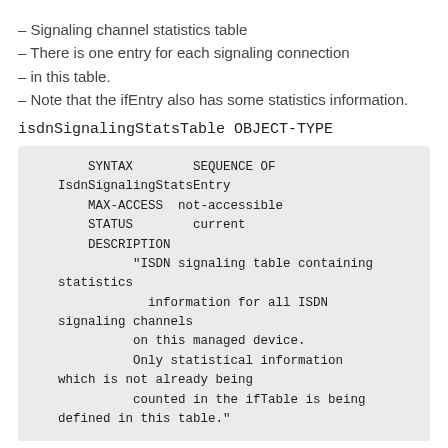– Signaling channel statistics table
– There is one entry for each signaling connection
– in this table.
– Note that the ifEntry also has some statistics information.
isdnSignalingStatsTable OBJECT-TYPE
SYNTAX        SEQUENCE OF
    IsdnSignalingStatsEntry
        MAX-ACCESS  not-accessible
        STATUS        current
        DESCRIPTION
              "ISDN signaling table containing
    statistics
                information for all ISDN
    signaling channels
              on this managed device.
              Only statistical information
    which is not already being
              counted in the ifTable is being
    defined in this table."